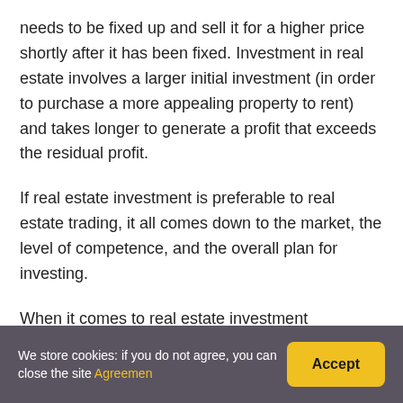needs to be fixed up and sell it for a higher price shortly after it has been fixed. Investment in real estate involves a larger initial investment (in order to purchase a more appealing property to rent) and takes longer to generate a profit that exceeds the residual profit.
If real estate investment is preferable to real estate trading, it all comes down to the market, the level of competence, and the overall plan for investing.
When it comes to real estate investment enterprises, both tactics are often used.
We store cookies: if you do not agree, you can close the site Agreemen